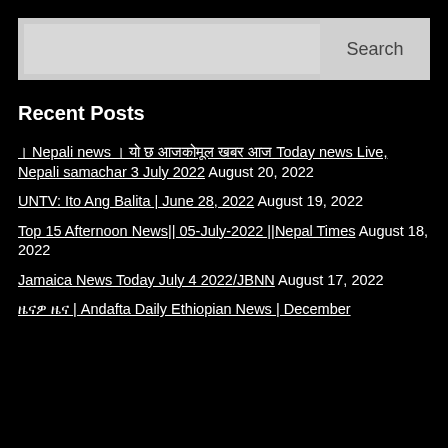[Figure (screenshot): Search bar with input field and Search button]
Recent Posts
। Nepali news । यो छ आजकोमूल खबर आज Today news Live, Nepali samachar 3 July 2022 August 20, 2022
UNTV: Ito Ang Balita | June 28, 2022 August 19, 2022
Top 15 Afternoon News|| 05-July-2022 ||Nepal Times August 18, 2022
Jamaica News Today July 4 2022/JBNN August 17, 2022
ዜናዎ ዜና | Andafta Daily Ethiopian News | December